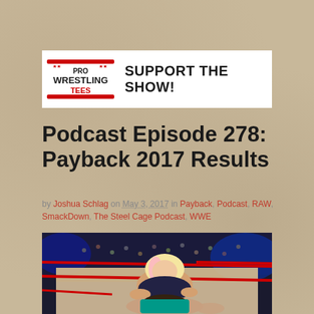[Figure (logo): Pro Wrestling Tees logo with SUPPORT THE SHOW! text banner]
Podcast Episode 278: Payback 2017 Results
by Joshua Schlag on May 3, 2017 in Payback, Podcast, RAW, SmackDown, The Steel Cage Podcast, WWE
[Figure (photo): WWE wrestling photo showing two female wrestlers in a ring with red ropes, arena crowd visible in background]